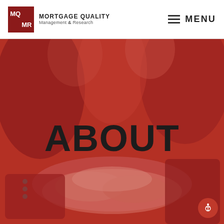MORTGAGE QUALITY Management & Research | MENU
[Figure (photo): Hero image with red-tinted overlay showing multiple people's hands joined together in a teamwork gesture, with people in business attire visible in the background. The word ABOUT is displayed prominently over the image.]
ABOUT